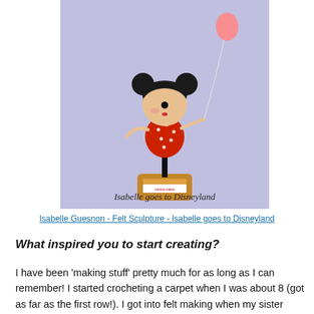[Figure (photo): A felt sculpture of a stylized doll figure with Mickey Mouse ears, black hair, wearing a red polka-dot dress, standing on a wooden spool base, holding a balloon string. Text at the bottom of the image reads 'Isabelle goes to Disneyland' in cursive. Background is light lavender/blue.]
Isabelle Guesnon - Felt Sculpture - Isabelle goes to Disneyland
What inspired you to start creating?
I have been 'making stuff' pretty much for as long as I can remember! I started crocheting a carpet when I was about 8 (got as far as the first row!). I got into felt making when my sister bought me a felt-making book and some wool roving. I